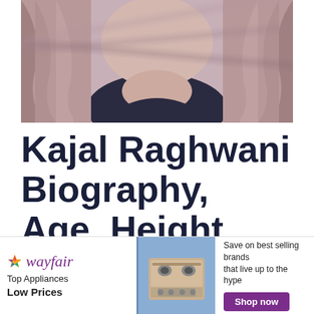[Figure (photo): Photo of Kajal Raghwani — close-up showing long hair and dark clothing, cropped at chin level]
Kajal Raghwani Biography, Age, Height, Family, HD Wallpapers
| Full Name | Kajal Raghwani |
[Figure (infographic): Wayfair advertisement banner: 'Top Appliances Low Prices' with image of a stove/range and text 'Save on best selling brands that live up to the hype' with a 'Shop now' purple button]